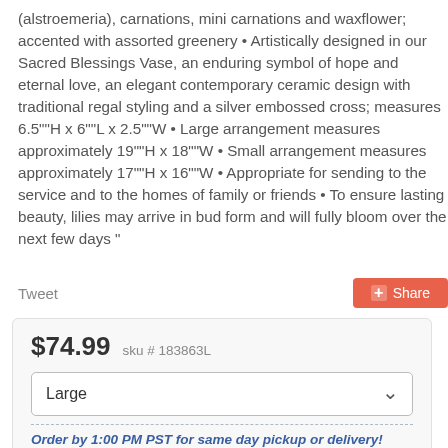(alstroemeria), carnations, mini carnations and waxflower; accented with assorted greenery • Artistically designed in our Sacred Blessings Vase, an enduring symbol of hope and eternal love, an elegant contemporary ceramic design with traditional regal styling and a silver embossed cross; measures 6.5""H x 6""L x 2.5""W • Large arrangement measures approximately 19""H x 18""W • Small arrangement measures approximately 17""H x 16""W • Appropriate for sending to the service and to the homes of family or friends • To ensure lasting beauty, lilies may arrive in bud form and will fully bloom over the next few days "
Tweet
Share
$74.99  sku # 183863L
Large
Order by 1:00 PM PST for same day pickup or delivery!